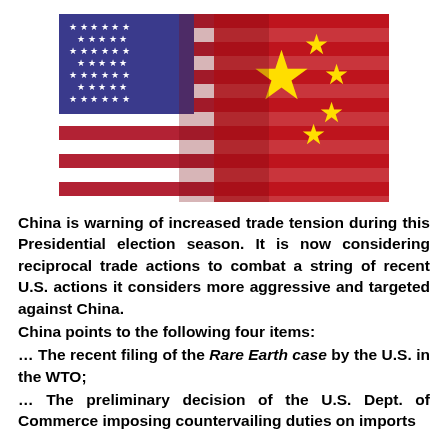[Figure (photo): Blended image of the United States flag and the Chinese flag side by side, with the Chinese flag's yellow star prominent in the center.]
China is warning of increased trade tension during this Presidential election season. It is now considering reciprocal trade actions to combat a string of recent U.S. actions it considers more aggressive and targeted against China.
China points to the following four items:
… The recent filing of the Rare Earth case by the U.S. in the WTO;
… The preliminary decision of the U.S. Dept. of Commerce imposing countervailing duties on imports